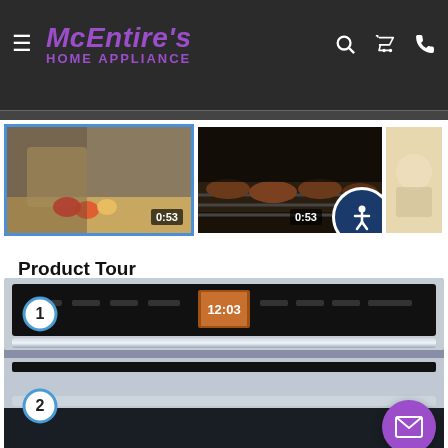[Figure (screenshot): McEntire's Home Appliance website header with logo, hamburger menu, search, cart, and phone icons on dark background]
[Figure (screenshot): Video thumbnails showing cooking scenes with 0:53 duration badges and accessibility button overlay]
Product Tour
[Figure (photo): Product tour image of a stainless steel double wall oven with numbered callout badges 1 and 2, and a mail/contact button overlay]